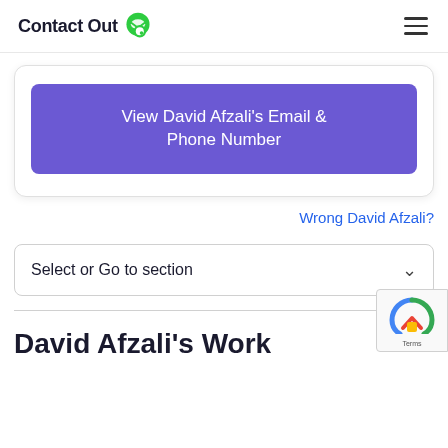ContactOut
View David Afzali's Email & Phone Number
Wrong David Afzali?
Select or Go to section
David Afzali's Work